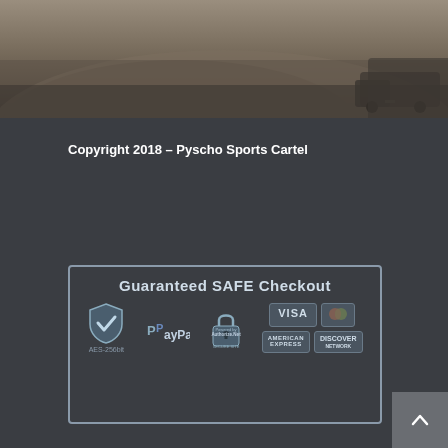[Figure (photo): Sepia-toned outdoor photograph showing a mound of dirt/gravel with a truck in the background, dark gritty scene]
Copyright 2018 - Pyscho Sports Cartel
[Figure (infographic): Guaranteed SAFE Checkout badge showing AES-256bit shield, PayPal logo, Authorize.Net secure site lock, Visa, MasterCard, American Express, and Discover card logos]
[Figure (other): Scroll-to-top button (caret/chevron up arrow) in bottom right corner]